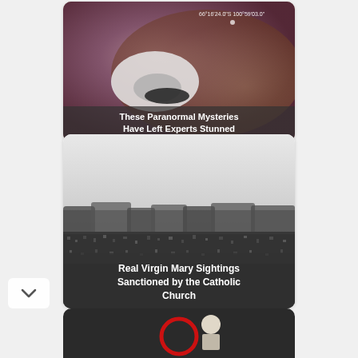[Figure (photo): Card 1: A paranormal/satellite image with purple and brown tones, with coordinates text overlay '66°16'24.0"S 100°59'03.0"' and title overlay 'These Paranormal Mysteries Have Left Experts Stunned']
[Figure (photo): Card 2: A black and white photo of a large crowd outdoors, with title overlay 'Real Virgin Mary Sightings Sanctioned by the Catholic Church']
[Figure (photo): Card 3 (partially visible at bottom): A dark image with a red circular element and a person visible]